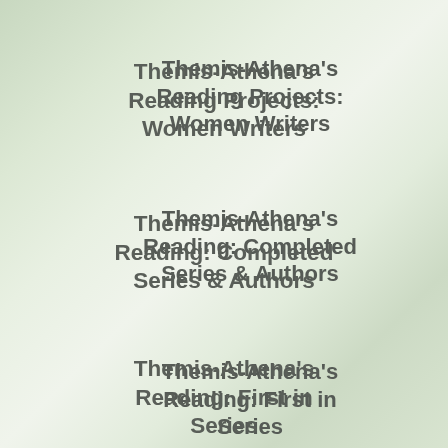Themis-Athena's Reading Projects: Women Writers
Themis-Athena's Reading: Completed Series & Authors
Themis-Athena's Reading: First in Series
Themis-Athena's Reading: Ongoing Series
Themis-Athena's Reviews